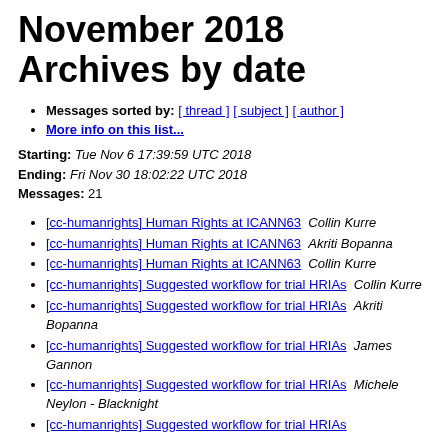November 2018 Archives by date
Messages sorted by: [ thread ] [ subject ] [ author ]
More info on this list...
Starting: Tue Nov 6 17:39:59 UTC 2018
Ending: Fri Nov 30 18:02:22 UTC 2018
Messages: 21
[cc-humanrights] Human Rights at ICANN63   Collin Kurre
[cc-humanrights] Human Rights at ICANN63   Akriti Bopanna
[cc-humanrights] Human Rights at ICANN63   Collin Kurre
[cc-humanrights] Suggested workflow for trial HRIAs   Collin Kurre
[cc-humanrights] Suggested workflow for trial HRIAs   Akriti Bopanna
[cc-humanrights] Suggested workflow for trial HRIAs   James Gannon
[cc-humanrights] Suggested workflow for trial HRIAs   Michele Neylon - Blacknight
[cc-humanrights] Suggested workflow for trial HRIAs